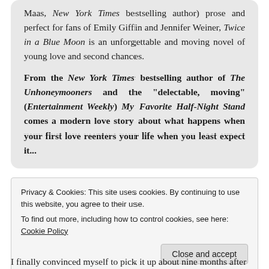Maas, New York Times bestselling author) prose and perfect for fans of Emily Giffin and Jennifer Weiner, Twice in a Blue Moon is an unforgettable and moving novel of young love and second chances.
From the New York Times bestselling author of The Unhoneymooners and the "delectable, moving" (Entertainment Weekly) My Favorite Half-Night Stand comes a modern love story about what happens when your first love reenters your life when you least expect it...
Privacy & Cookies: This site uses cookies. By continuing to use this website, you agree to their use.
To find out more, including how to control cookies, see here: Cookie Policy
Close and accept
I finally convinced myself to pick it up about nine months after